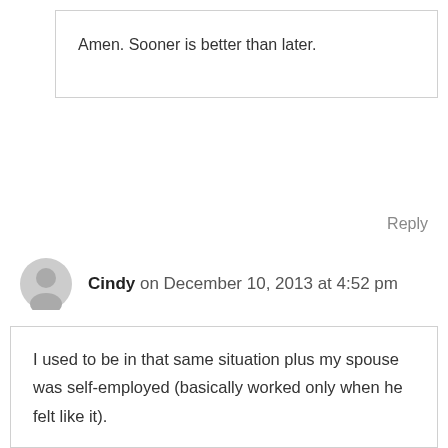Amen. Sooner is better than later.
Reply
Cindy on December 10, 2013 at 4:52 pm
I used to be in that same situation plus my spouse was self-employed (basically worked only when he felt like it).

Leslie has some great examples giving you an excellent place to get some starter ideas. It is such a new way of thinking for most of us that it takes a bit to think of appropriate